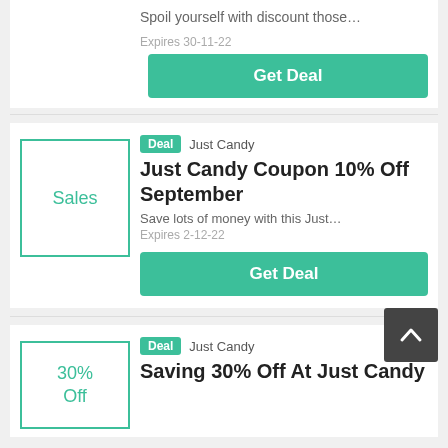Spoil yourself with discount those...
Expires 30-11-22
Get Deal
Deal  Just Candy
Just Candy Coupon 10% Off September
Save lots of money with this Just...
Expires 2-12-22
Get Deal
Deal  Just Candy
Saving 30% Off At Just Candy
30% Off